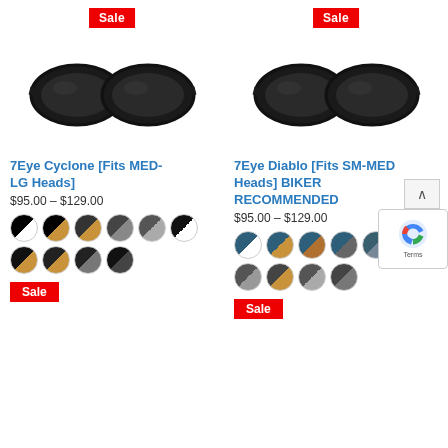[Figure (photo): 7Eye Cyclone sunglasses product photo, black frame with dark lenses, frontal view]
[Figure (photo): 7Eye Diablo sunglasses product photo, black frame with dark lenses, frontal view]
Sale
Sale
7Eye Cyclone [Fits MED-LG Heads]
$95.00 – $129.00
7Eye Diablo [Fits SM-MED Heads] BIKER RECOMMENDED
$95.00 – $129.00
Sale
Sale